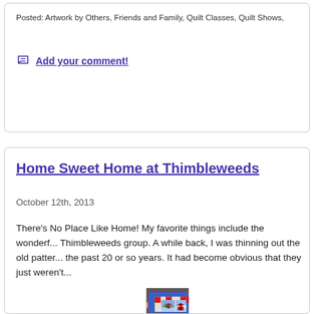Posted: Artwork by Others, Friends and Family, Quilt Classes, Quilt Shows,
Add your comment!
Home Sweet Home at Thimbleweeds
October 12th, 2013
There's No Place Like Home!  My favorite things include the wonderf... Thimbleweeds group.   A while back, I was thinning out the old patter... the past 20 or so years.  It had become obvious that they just weren't...
[Figure (photo): Photograph of a colorful quilt being held up, featuring blue background with red star blocks and pictorial panels showing a log cabin and a red barn scene.]